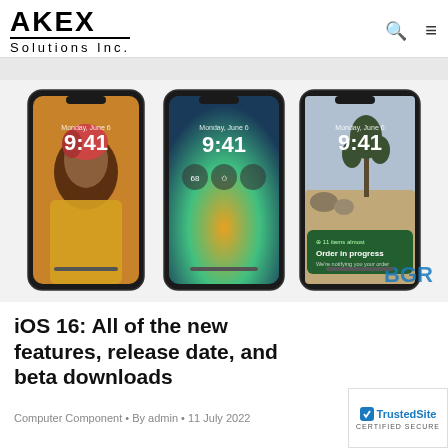AKEX Solutions Inc.
[Figure (photo): Three iPhones side by side showing iOS 16 lock screens: one with a portrait of a woman with colorful hair in a yellow sweater, one with a colorful gradient wallpaper and widgets, and one with a desert landscape showing a Starbucks notification. Time shows 9:41 on all. BGR watermark visible on the right phone.]
iOS 16: All of the new features, release date, and beta downloads
Computer Component • By admin • 11 July 2022
[Figure (logo): TrustedSite CERTIFIED SECURE badge]